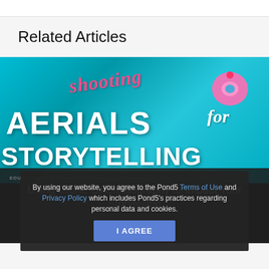Related Articles
[Figure (illustration): Aerial photography promotional image with turquoise pool water background. Text overlay reads 'shooting AERIALS for STORYTELLING' in bold white and pink italic lettering. A person floating on a pink donut-shaped inflatable is visible in the top right. Below the image is a dark overlay with article category tags and article title 'Using Drone Cinematography to Impact Your Storytelling'.]
By using our website, you agree to the Pond5 Terms of Use and Privacy Policy which includes Pond5's practices regarding personal data and cookies.
I AGREE